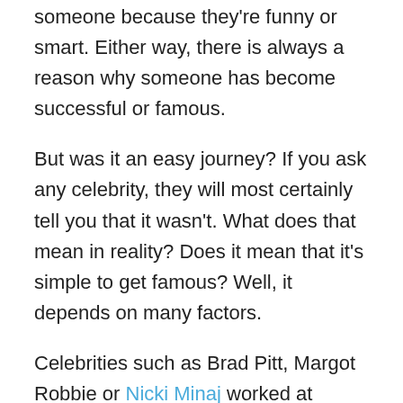someone because they're funny or smart. Either way, there is always a reason why someone has become successful or famous.
But was it an easy journey? If you ask any celebrity, they will most certainly tell you that it wasn't. What does that mean in reality? Does it mean that it's simple to get famous? Well, it depends on many factors.
Celebrities such as Brad Pitt, Margot Robbie or Nicki Minaj worked at restaurants as waitresses or floor sweepers before they became famous. We've all heard about Cardi B's story and her hustle during the times when she was a stripper. Now she's a global star. Why are we mentioning this? Celebrities were just normal, regular people before they got famous and they did all sorts of things and had worked a plethora of different jobs or shall we say jobs of all kinds, in order to make a living. But could you ever imagine that some